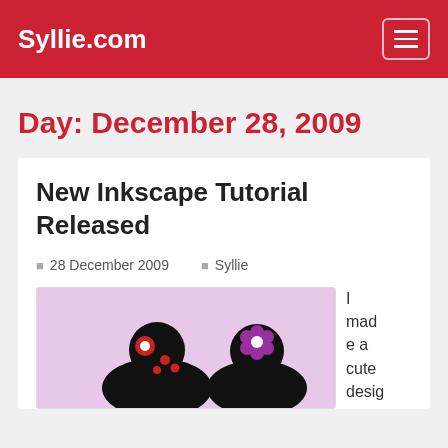Syllie.com
Day: December 28, 2009
New Inkscape Tutorial Released
28 December 2009   Syllie
[Figure (illustration): Blog post thumbnail showing two black silhouette figures on a pink/lavender background. The left figure has a red circular flower/brooch and red dots. The right figure has a purple flower accessory.]
I made a cute desig